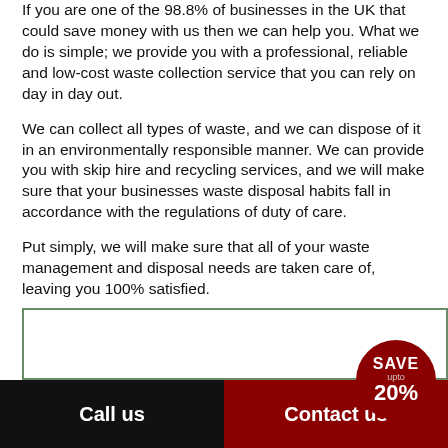If you are one of the 98.8% of businesses in the UK that could save money with us then we can help you. What we do is simple; we provide you with a professional, reliable and low-cost waste collection service that you can rely on day in day out.
We can collect all types of waste, and we can dispose of it in an environmentally responsible manner. We can provide you with skip hire and recycling services, and we will make sure that your businesses waste disposal habits fall in accordance with the regulations of duty of care.
Put simply, we will make sure that all of your waste management and disposal needs are taken care of, leaving you 100% satisfied.
Free Quote
[Figure (infographic): Dark red circular badge with text SAVE upto 20%]
Call us
Contact us